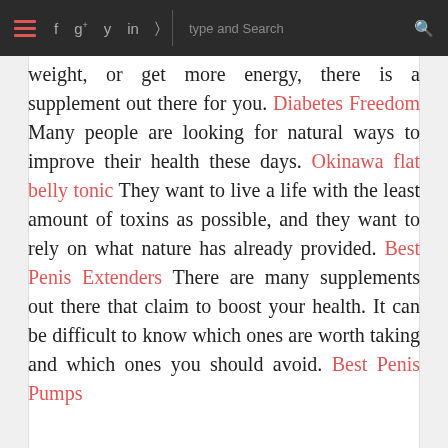≡  f  g+  y  in  ⊃  |  type and Search  🔍
weight, or get more energy, there is a supplement out there for you. Diabetes Freedom Many people are looking for natural ways to improve their health these days. Okinawa flat belly tonic They want to live a life with the least amount of toxins as possible, and they want to rely on what nature has already provided. Best Penis Extenders There are many supplements out there that claim to boost your health. It can be difficult to know which ones are worth taking and which ones you should avoid. Best Penis Pumps